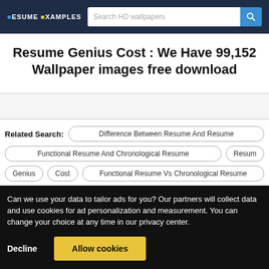RESUME EXAMPLES | Search HD wallpapers
Resume Genius Cost : We Have 99,152 Wallpaper images free download
Related Search: Difference Between Resume And Resume | Functional Resume And Chronological Resume | Resum | Genius | Cost | Functional Resume Vs Chronological Resume
Can we use your data to tailor ads for you? Our partners will collect data and use cookies for ad personalization and measurement. You can change your choice at any time in our privacy center.
Decline | Allow cookies